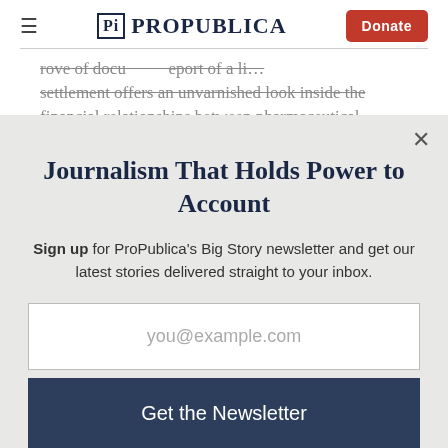ProPublica — Donate
rove of docu… eport of a li… settlement offers an unvarnished look inside the financial relationships between pharmaceutical
Journalism That Holds Power to Account
Sign up for ProPublica's Big Story newsletter and get our latest stories delivered straight to your inbox.
you@example.com
Get the Newsletter
No thanks, I'm all set
This site is protected by reCAPTCHA and the Google Privacy Policy and Terms of Service apply.